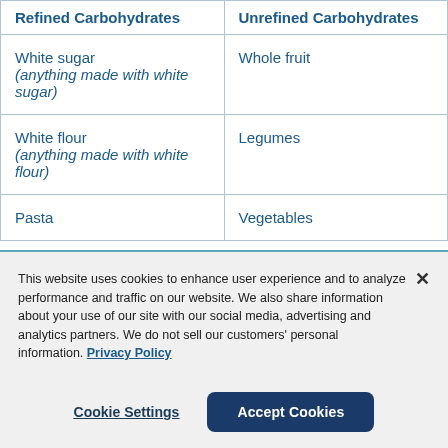| Refined Carbohydrates | Unrefined Carbohydrates |
| --- | --- |
| White sugar (anything made with white sugar) | Whole fruit |
| White flour (anything made with white flour) | Legumes |
| Pasta | Vegetables |
This website uses cookies to enhance user experience and to analyze performance and traffic on our website. We also share information about your use of our site with our social media, advertising and analytics partners. We do not sell our customers' personal information. Privacy Policy